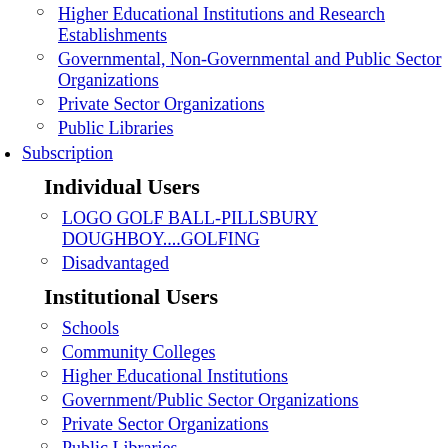Higher Educational Institutions and Research Establishments
Governmental, Non-Governmental and Public Sector Organizations
Private Sector Organizations
Public Libraries
Subscription
Individual Users
LOGO GOLF BALL-PILLSBURY DOUGHBOY....GOLFING
Disadvantaged
Institutional Users
Schools
Community Colleges
Higher Educational Institutions
Government/Public Sector Organizations
Private Sector Organizations
Public Libraries
Educational Institutions in the UN list of LDC
Login
Member Institutions